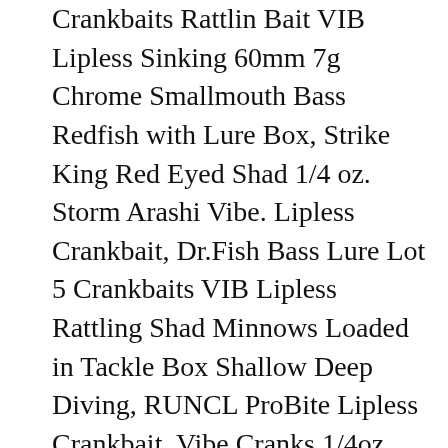Crankbaits Rattlin Bait VIB Lipless Sinking 60mm 7g Chrome Smallmouth Bass Redfish with Lure Box, Strike King Red Eyed Shad 1/4 oz. Storm Arashi Vibe. Lipless Crankbait, Dr.Fish Bass Lure Lot 5 Crankbaits VIB Lipless Rattling Shad Minnows Loaded in Tackle Box Shallow Deep Diving, RUNCL ProBite Lipless Crankbait, Vibe Cranks 1/4oz 3/8oz 1/2oz 5/8oz, Hard Fishing Lures - Lifelike Design, Loud Rattles, Precise Weighting System, Tight Wobble Action - Bass Fishing Plug Baits, SteelShad - Original Series (3/8 oz) - 3 Pack - Lipless Crankbait for Freshwater & Saltwater Fishing - Long Casting Bass Lure Perfect for Bass, Pike, Musky, Walleye, Trout, Salmon and Striper. SteelShad - Bass Fishing Lures -